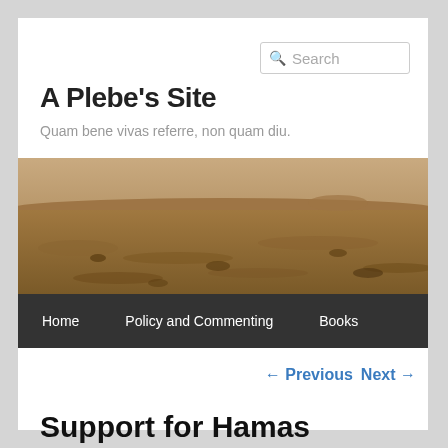Search
A Plebe's Site
Quam bene vivas referre, non quam diu.
[Figure (photo): Wide panoramic photo of a Mars-like rocky desert landscape under a hazy sky, in warm brown/sepia tones]
Home   Policy and Commenting   Books
← Previous   Next →
Support for Hamas